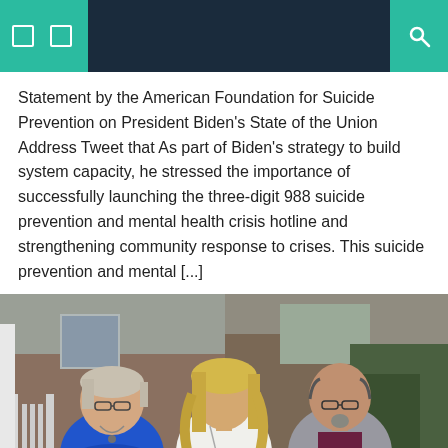[navigation bar with icons and search]
Statement by the American Foundation for Suicide Prevention on President Biden's State of the Union Address Tweet that As part of Biden's strategy to build system capacity, he stressed the importance of successfully launching the three-digit 988 suicide prevention and mental health crisis hotline and strengthening community response to crises. This suicide prevention and mental [...]
[Figure (photo): Three people standing together outdoors in front of a brick building with white columns and greenery. On the left is an older woman wearing a blue shirt and glasses with a necklace. In the center is a woman with blonde hair wearing a white sleeveless top with a long necklace. On the right is a bald man with glasses and a goatee wearing a gray blazer over a dark maroon shirt.]